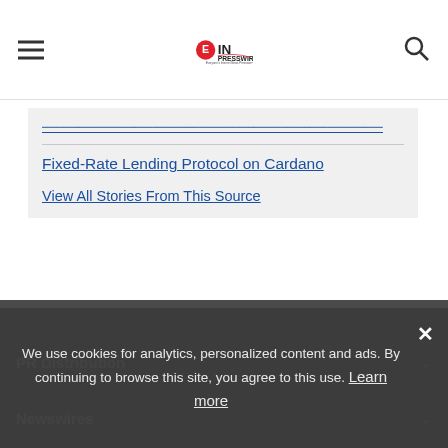EINPresswire - Everyone's Internet News Presswire
Fixed-Rate Lending Protocol on Cardano
View All Stories From This Source
PR Distribution
Newswires
We use cookies for analytics, personalized content and ads. By continuing to browse this site, you agree to this use. Learn more